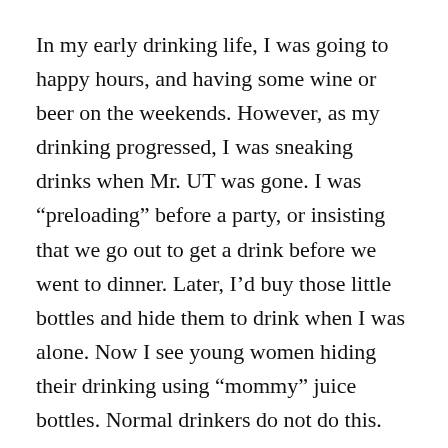In my early drinking life, I was going to happy hours, and having some wine or beer on the weekends. However, as my drinking progressed, I was sneaking drinks when Mr. UT was gone. I was “preloading” before a party, or insisting that we go out to get a drink before we went to dinner. Later, I’d buy those little bottles and hide them to drink when I was alone. Now I see young women hiding their drinking using “mommy” juice bottles. Normal drinkers do not do this.
Women seem especially prone to do this, partly because of the shame that comes with this addiction. I know I was ashamed of my drinking. I also hid it because by that point, I was addicted. I needed it.